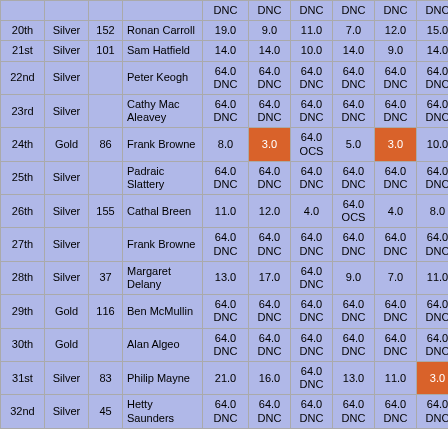| Place | Fleet | Sail No | Helm | R1 | R2 | R3 | R4 | R5 | R6 | ... |
| --- | --- | --- | --- | --- | --- | --- | --- | --- | --- | --- |
|  |  |  |  | DNC | DNC | DNC | DNC | DNC | DNC |  |
| 20th | Silver | 152 | Ronan Carroll | 19.0 | 9.0 | 11.0 | 7.0 | 12.0 | 15.0 |  |
| 21st | Silver | 101 | Sam Hatfield | 14.0 | 14.0 | 10.0 | 14.0 | 9.0 | 14.0 |  |
| 22nd | Silver |  | Peter Keogh | 64.0 DNC | 64.0 DNC | 64.0 DNC | 64.0 DNC | 64.0 DNC | 64.0 DNC |  |
| 23rd | Silver |  | Cathy Mac Aleavey | 64.0 DNC | 64.0 DNC | 64.0 DNC | 64.0 DNC | 64.0 DNC | 64.0 DNC |  |
| 24th | Gold | 86 | Frank Browne | 8.0 | 3.0 | 64.0 OCS | 5.0 | 3.0 | 10.0 |  |
| 25th | Silver |  | Padraic Slattery | 64.0 DNC | 64.0 DNC | 64.0 DNC | 64.0 DNC | 64.0 DNC | 64.0 DNC |  |
| 26th | Silver | 155 | Cathal Breen | 11.0 | 12.0 | 4.0 | 64.0 OCS | 4.0 | 8.0 |  |
| 27th | Silver |  | Frank Browne | 64.0 DNC | 64.0 DNC | 64.0 DNC | 64.0 DNC | 64.0 DNC | 64.0 DNC |  |
| 28th | Silver | 37 | Margaret Delany | 13.0 | 17.0 | 64.0 DNC | 9.0 | 7.0 | 11.0 |  |
| 29th | Gold | 116 | Ben McMullin | 64.0 DNC | 64.0 DNC | 64.0 DNC | 64.0 DNC | 64.0 DNC | 64.0 DNC |  |
| 30th | Gold |  | Alan Algeo | 64.0 DNC | 64.0 DNC | 64.0 DNC | 64.0 DNC | 64.0 DNC | 64.0 DNC |  |
| 31st | Silver | 83 | Philip Mayne | 21.0 | 16.0 | 64.0 DNC | 13.0 | 11.0 | 3.0 |  |
| 32nd | Silver | 45 | Hetty Saunders | 64.0 DNC | 64.0 DNC | 64.0 DNC | 64.0 DNC | 64.0 DNC | 64.0 DNC |  |